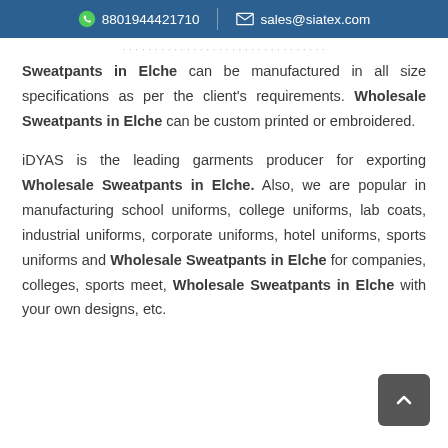8801944421710  sales@siatex.com
Sweatpants in Elche can be manufactured in all size specifications as per the client's requirements. Wholesale Sweatpants in Elche can be custom printed or embroidered.
iDYAS is the leading garments producer for exporting Wholesale Sweatpants in Elche. Also, we are popular in manufacturing school uniforms, college uniforms, lab coats, industrial uniforms, corporate uniforms, hotel uniforms, sports uniforms and Wholesale Sweatpants in Elche for companies, colleges, sports meet, Wholesale Sweatpants in Elche with your own designs, etc.